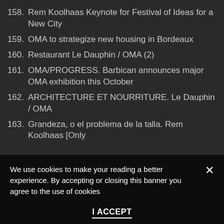158. Rem Koolhaas Keynote for Festival of Ideas for a New City
159. OMA to strategize new housing in Bordeaux
160. Restaurant Le Dauphin / OMA (2)
161. OMA/PROGRESS. Barbican announces major OMA exhibition this October
162. ARCHITECTURE ET NOURRITURE. Le Dauphin / OMA
163. Grandeza, o el problema de la talla. Rem Koolhaas [Only
We use cookies to make your reading a better experience. By accepting or closing this banner you agree to the use of cookies
I ACCEPT
Read cookies policy